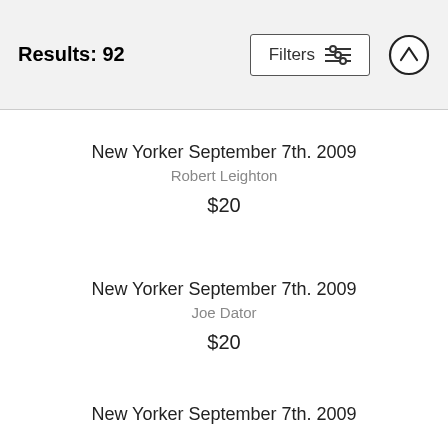Results: 92
New Yorker September 7th. 2009
Robert Leighton
$20
New Yorker September 7th. 2009
Joe Dator
$20
New Yorker September 7th. 2009